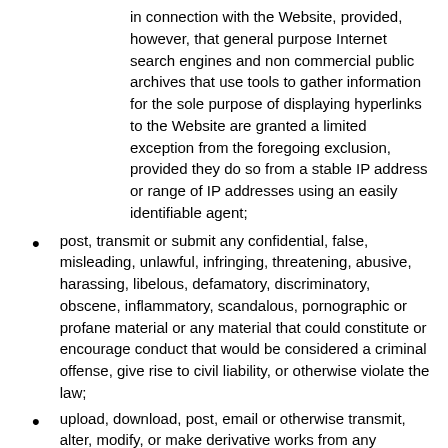in connection with the Website, provided, however, that general purpose Internet search engines and non commercial public archives that use tools to gather information for the sole purpose of displaying hyperlinks to the Website are granted a limited exception from the foregoing exclusion, provided they do so from a stable IP address or range of IP addresses using an easily identifiable agent;
post, transmit or submit any confidential, false, misleading, unlawful, infringing, threatening, abusive, harassing, libelous, defamatory, discriminatory, obscene, inflammatory, scandalous, pornographic or profane material or any material that could constitute or encourage conduct that would be considered a criminal offense, give rise to civil liability, or otherwise violate the law;
upload, download, post, email or otherwise transmit, alter, modify, or make derivative works from any material that may infringe copyright, patent, trademark, trade secret, or other intellectual property or proprietary rights of any party;